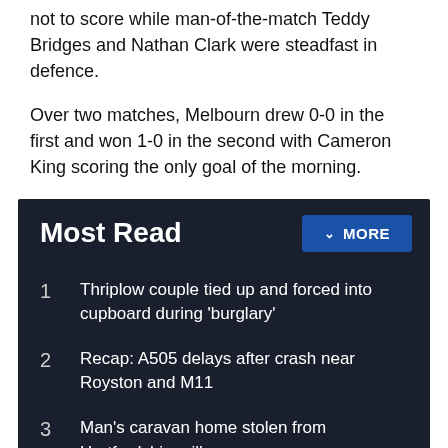not to score while man-of-the-match Teddy Bridges and Nathan Clark were steadfast in defence.
Over two matches, Melbourn drew 0-0 in the first and won 1-0 in the second with Cameron King scoring the only goal of the morning.
Most Read
Thriplow couple tied up and forced into cupboard during 'burglary'
Recap: A505 delays after crash near Royston and M11
Man's caravan home stolen from Hertfordshire village
Receive the top news, sport and things to do, sent to your inbox every Thursday.